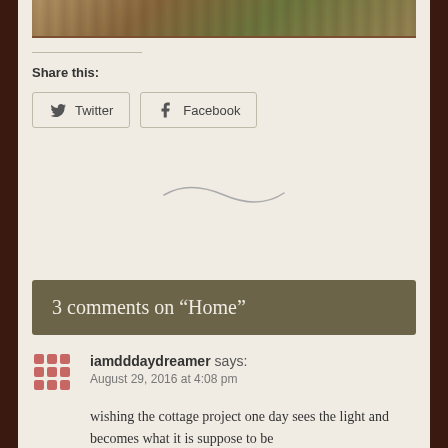[Figure (photo): Partial top of an image visible at the top of the page]
Share this:
Twitter  Facebook
[Figure (illustration): Decorative tilde/swirl divider]
3 comments on “Home”
iamdddaydreamer says:
August 29, 2016 at 4:08 pm

wishing the cottage project one day sees the light and becomes what it is suppose to be